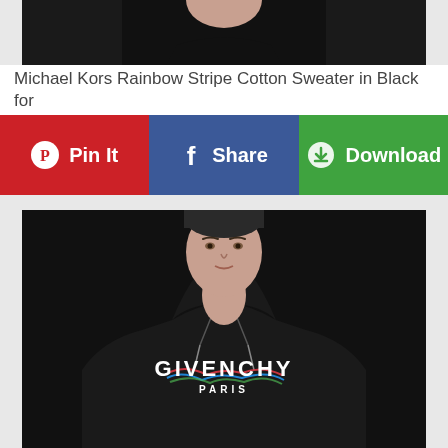[Figure (photo): Partial top of a product image showing a black garment against grey background]
Michael Kors Rainbow Stripe Cotton Sweater in Black for
[Figure (infographic): Three social sharing buttons: Pin It (red, Pinterest), Share (blue, Facebook), Download (green)]
[Figure (photo): Man wearing a black Givenchy Paris hoodie with colorful signature logo on chest, shown from shoulders up with face visible, against grey background]